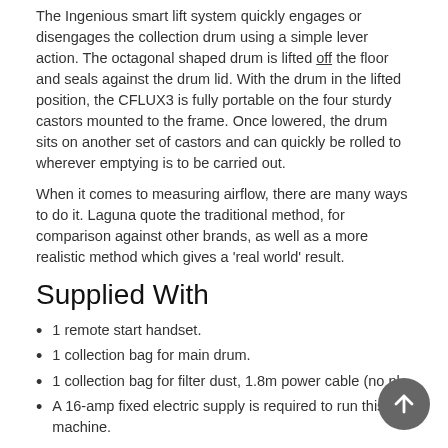The Ingenious smart lift system quickly engages or disengages the collection drum using a simple lever action. The octagonal shaped drum is lifted off the floor and seals against the drum lid. With the drum in the lifted position, the CFLUX3 is fully portable on the four sturdy castors mounted to the frame. Once lowered, the drum sits on another set of castors and can quickly be rolled to wherever emptying is to be carried out.
When it comes to measuring airflow, there are many ways to do it. Laguna quote the traditional method, for comparison against other brands, as well as a more realistic method which gives a 'real world' result.
Supplied With
1 remote start handset.
1 collection bag for main drum.
1 collection bag for filter dust, 1.8m power cable (no pl
A 16-amp fixed electric supply is required to run this machine.